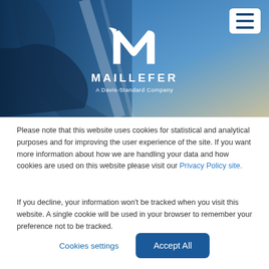[Figure (logo): Maillefer logo with stylized M mark and 'MAILLEFER - A Davis-Standard Company' text on a blue photographic banner background with a hamburger menu icon in the top right]
Please note that this website uses cookies for statistical and analytical purposes and for improving the user experience of the site. If you want more information about how we are handling your data and how cookies are used on this website please visit our Privacy Policy site.
If you decline, your information won't be tracked when you visit this website. A single cookie will be used in your browser to remember your preference not to be tracked.
Cookies settings   Accept All